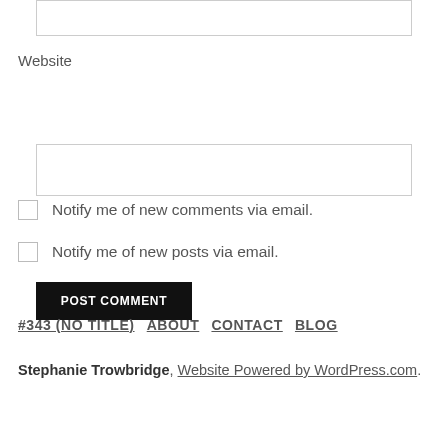[Figure (screenshot): Top portion of a web form input box (partially visible at the top of the page)]
Website
[Figure (screenshot): Website text input field (empty)]
POST COMMENT
Notify me of new comments via email.
Notify me of new posts via email.
#343 (NO TITLE)  ABOUT  CONTACT  BLOG
Stephanie Trowbridge, Website Powered by WordPress.com.